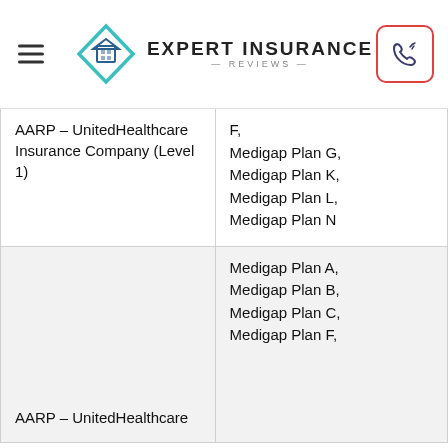Expert Insurance Reviews
| Provider | Plans Available |
| --- | --- |
| AARP – UnitedHealthcare Insurance Company (Level 1) | F,
Medigap Plan G,
Medigap Plan K,
Medigap Plan L,
Medigap Plan N |
| AARP – UnitedHealthcare | Medigap Plan A,
Medigap Plan B,
Medigap Plan C,
Medigap Plan F, |